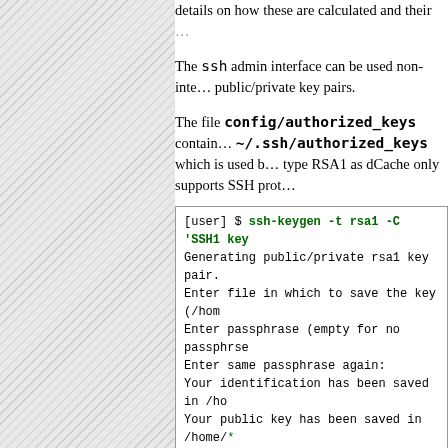details on how these are calculated and their ...
The ssh admin interface can be used non-inte... public/private key pairs.
The file config/authorized_keys contain... ~/.ssh/authorized_keys which is used b... type RSA1 as dCache only supports SSH prot...
[Figure (screenshot): Terminal code block showing ssh-keygen command and output: [user] $ ssh-keygen -t rsa1 -C 'SSH1 key..., Generating public/private rsa1 key pair., Enter file in which to save the key (/hom..., Enter passphrase (empty for no passphrase..., Enter same passphrase again:, Your identification has been saved in /ho..., Your public key has been saved in /home/..., The key fingerprint is:, c1:95:03:6a:66:21:3c:f3:ee:1b:8d:cb:46:f4...]
The passphrase is used to encrypt the private... not want to enter the passphrase every time th... ssh-agent. If no agent is running start it with...
[Figure (screenshot): Terminal code block starting with [user] $ if [...]...]